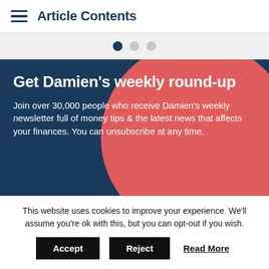Article Contents
[Figure (other): Three navigation dots, first one active (dark navy), two inactive (grey), carousel indicator]
Get Damien's weekly round-up
Join over 30,000 people who receive Damien's weekly newsletter full of money tips & the latest news that affects your finances. You can unsubscribe at any time.
Enter email address
This website uses cookies to improve your experience. We'll assume you're ok with this, but you can opt-out if you wish.
Accept   Reject   Read More